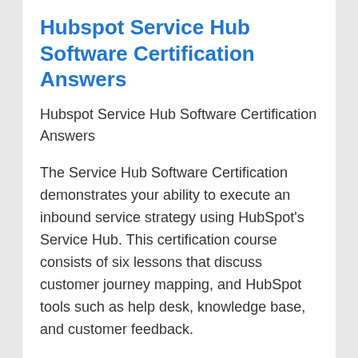Hubspot Service Hub Software Certification Answers
Hubspot Service Hub Software Certification Answers
The Service Hub Software Certification demonstrates your ability to execute an inbound service strategy using HubSpot's Service Hub. This certification course consists of six lessons that discuss customer journey mapping, and HubSpot tools such as help desk, knowledge base, and customer feedback.
There are 60 questions.
It should take 1 hour to complete.